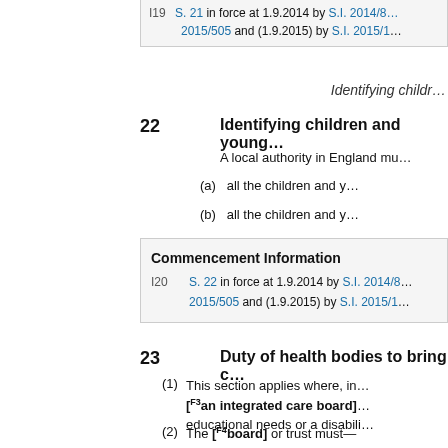I19  S. 21 in force at 1.9.2014 by S.I. 2014/... 2015/505 and (1.9.2015) by S.I. 2015/1...
Identifying childr...
22   Identifying children and young...
A local authority in England mu...
(a)  all the children and y...
(b)  all the children and y...
Commencement Information
I20  S. 22 in force at 1.9.2014 by S.I. 2014/8... 2015/505 and (1.9.2015) by S.I. 2015/1...
23   Duty of health bodies to bring c...
(1)  This section applies where, in... [F3 an integrated care board]... educational needs or a disabili...
(2)  The [F4 board] or trust must—
(a)  inform the child's par...
(b)  give the child's peron...